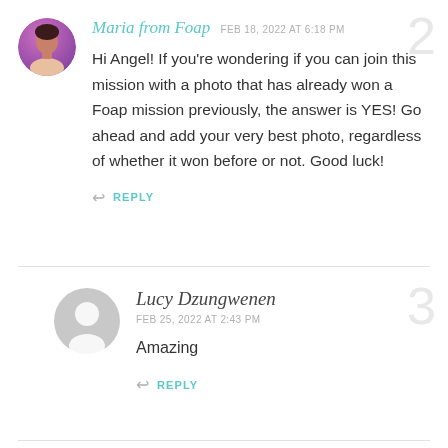[Figure (photo): Round avatar of Maria from Foap — woman with dark hair, purple/pink gradient background]
Maria from Foap  FEB 18, 2022 AT 6:18 PM
Hi Angel! If you're wondering if you can join this mission with a photo that has already won a Foap mission previously, the answer is YES! Go ahead and add your very best photo, regardless of whether it won before or not. Good luck!
↩ REPLY
[Figure (photo): Round generic gray avatar silhouette for Lucy Dzungwenen]
Lucy Dzungwenen  FEB 25, 2022 AT 2:43 PM
Amazing
↩ REPLY